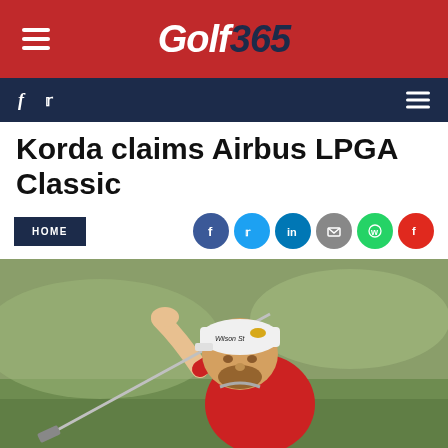Golf 365
Korda claims Airbus LPGA Classic
[Figure (photo): Male golfer in red shirt and white Wilson Staff cap swinging a golf club, photographed mid-swing against a green course background]